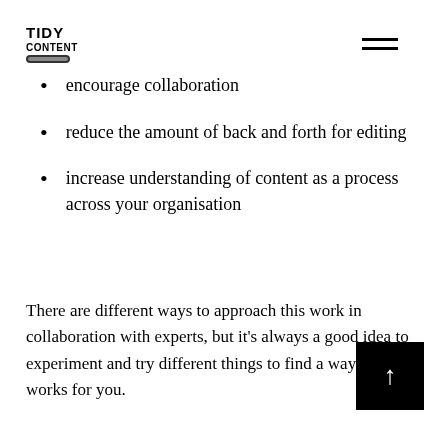TIDY CONTENT [logo with pencil icon] [hamburger menu]
encourage collaboration
reduce the amount of back and forth for editing
increase understanding of content as a process across your organisation
There are different ways to approach this work in collaboration with experts, but it's always a good idea to experiment and try different things to find a way that works for you.